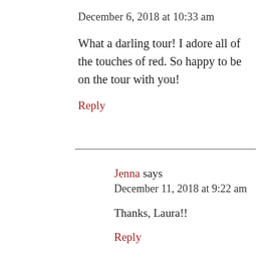December 6, 2018 at 10:33 am
What a darling tour! I adore all of the touches of red. So happy to be on the tour with you!
Reply
Jenna says
December 11, 2018 at 9:22 am
Thanks, Laura!!
Reply